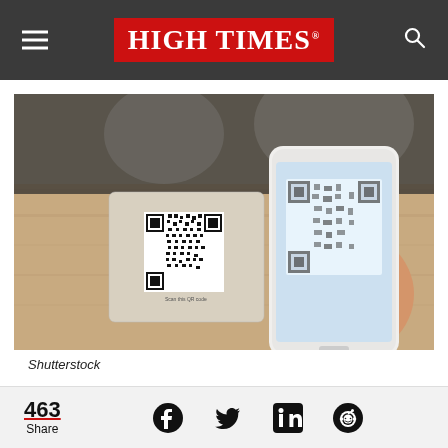HIGH TIMES
[Figure (photo): A hand holding a white smartphone scanning a QR code on a business card lying on a wooden table. The phone screen shows the QR code being scanned. The background is blurred showing kitchen or indoor setting.]
Shutterstock
463 Share